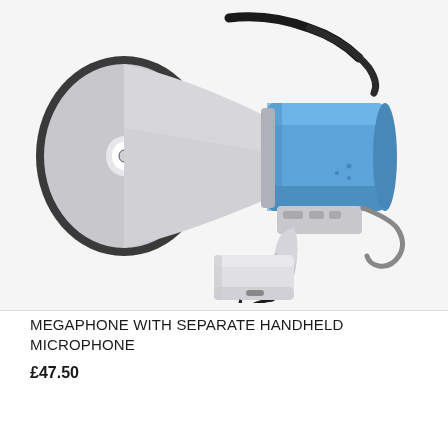[Figure (photo): A megaphone (bullhorn) with a white/grey conical horn on the left and a blue cylindrical body on the right. A pistol-grip handle is attached below, with a coiled black cable leading to a separate white handheld microphone unit. A black shoulder strap is attached to the top.]
MEGAPHONE WITH SEPARATE HANDHELD MICROPHONE
£47.50